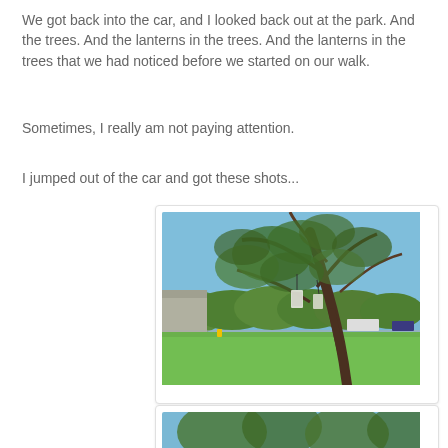We got back into the car, and I looked back out at the park. And the trees. And the lanterns in the trees. And the lanterns in the trees that we had noticed before we started on our walk.
Sometimes, I really am not paying attention.
I jumped out of the car and got these shots...
[Figure (photo): Outdoor photo of a large tree with sparse foliage leaning slightly, green grass lawn in the foreground, blue sky, suburban street with vehicles and hedges in the background, a lantern hanging from the tree branches.]
[Figure (photo): Partial view of another outdoor photo showing trees with blue sky, cut off at the bottom of the page.]